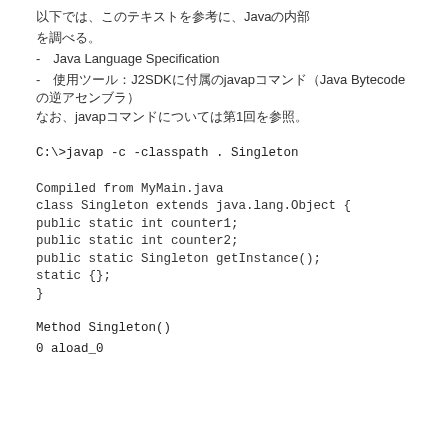以下では、このテキストを参考に、Javaの内部
を調べる。
- 参考：Java Language Specification
- 使用ツール：J2SDKに付属のjavapコマンド（Java Bytecodeの逆アセンブラ）
なお、javapコマンドについては第1回を参照。
C:\>javap -c -classpath . Singleton
Compiled from MyMain.java
class Singleton extends java.lang.Object {
public static int counter1;
public static int counter2;
public static Singleton getInstance();
static {};
}
Method Singleton()
0 aload_0